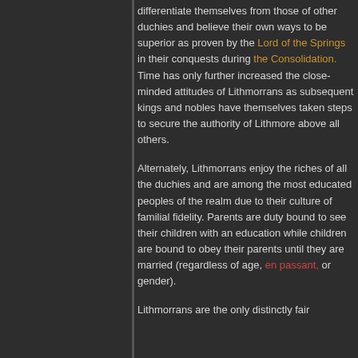differentiate themselves from those of other duchies and believe their own ways to be superior as proven by the Lord of the Springs in their conquests during the Consolidation. Time has only further increased the close-minded attitudes of Lithmorrans as subsequent kings and nobles have themselves taken steps to secure the authority of Lithmore above all others.
Alternately, Lithmorrans enjoy the riches of all the duchies and are among the most educated peoples of the realm due to their culture of familial fidelity. Parents are duty bound to see their children with an education while children are bound to obey their parents until they are married (regardless of age, en passant, or gender).
Lithmorrans are the only distinctly fair